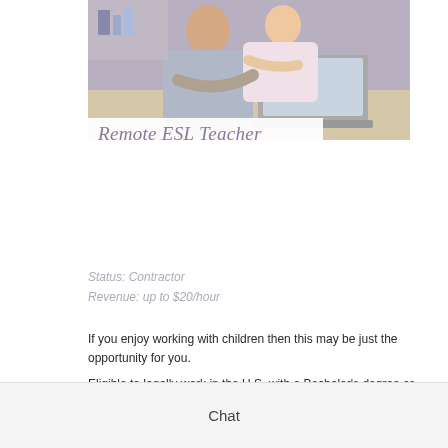[Figure (photo): Two people (appears to be a child and an adult) sitting together at a laptop computer, viewed from behind/side. Photo is cropped and shown at top of page.]
Remote ESL Teacher
Status: Contractor
Revenue: up to $20/hour
If you enjoy working with children then this may be just the opportunity for you.
Eligible to legally work in the U.S. with a Bachelor's degree or above & prior teaching experience or equivalent in education, tutoring, mentoring, or homeschooling
English teaching certificates (TESOL, TEFL, CELTA, etc) is highly preferred Able to teach 6+ hours weekly Excellent communication skills
Chat